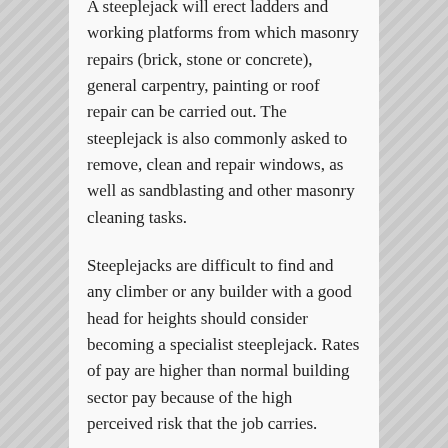A steeplejack will erect ladders and working platforms from which masonry repairs (brick, stone or concrete), general carpentry, painting or roof repair can be carried out. The steeplejack is also commonly asked to remove, clean and repair windows, as well as sandblasting and other masonry cleaning tasks.
Steeplejacks are difficult to find and any climber or any builder with a good head for heights should consider becoming a specialist steeplejack. Rates of pay are higher than normal building sector pay because of the high perceived risk that the job carries.
A steeplejack will never work on his own, for safety reasons, but contractors are usually small business operations. If you are struggling to find one then just